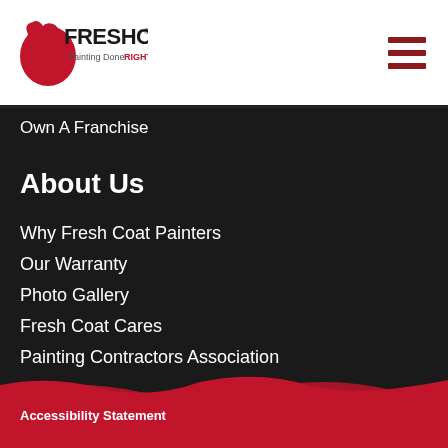[Figure (logo): Fresh Coat logo with red paint splash and text 'Painting Done RIGHT!']
Own A Franchise
About Us
Why Fresh Coat Painters
Our Warranty
Photo Gallery
Fresh Coat Cares
Painting Contractors Association
Accessibility Statement